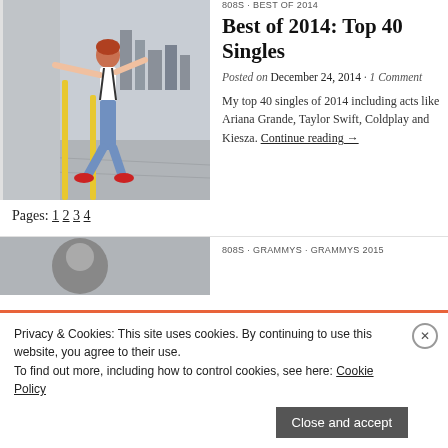[Figure (photo): Person dancing in an alley/street with arms outstretched, wearing white top, jeans, and red shoes. Urban background with brick walls and city skyline.]
Best of 2014: Top 40 Singles
Posted on December 24, 2014 · 1 Comment
My top 40 singles of 2014 including acts like Ariana Grande, Taylor Swift, Coldplay and Kiesza. Continue reading →
Pages: 1 2 3 4
808S · GRAMMYS · GRAMMYS 2015
Privacy & Cookies: This site uses cookies. By continuing to use this website, you agree to their use.
To find out more, including how to control cookies, see here: Cookie Policy